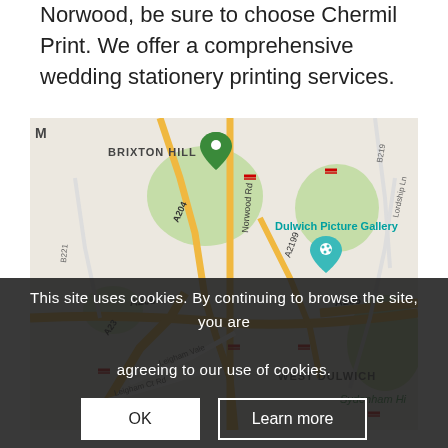Norwood, be sure to choose Chermil Print. We offer a comprehensive wedding stationery printing services.
[Figure (map): Google Maps screenshot showing area around Dulwich Picture Gallery, with streets including A205, A204, A23, B221, B219, Norwood Road, Leigham Vale, Leigham Court Road, area labels including Brixton Hill, West Dulwich, Sydenham Hill, and map pins for Dulwich Picture Gallery and another location.]
This site uses cookies. By continuing to browse the site, you are agreeing to our use of cookies.